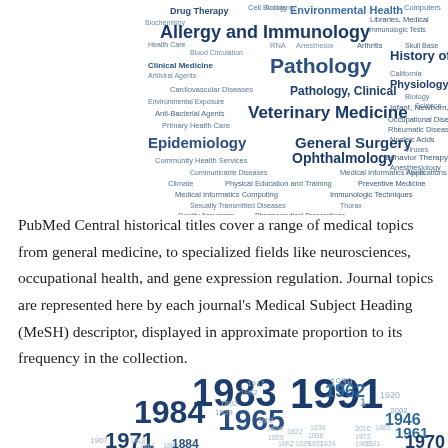[Figure (infographic): Word cloud of medical subject headings including Allergy and Immunology, Pathology, History of Medicine, Physiology, Pathology Clinical, Veterinary Medicine, Epidemiology, General Surgery, Ophthalmology, Drug Therapy, Environmental Health, Cell Biology, Biochemistry, Health Care, Blood Circulation, Clinical Medicine, Antiviral Agents, Cardiovascular Diseases, Environmental Exposure, Anti-Bacterial Agents, Primary Health Care, Community Health Services, Communicable Diseases, Climate, Physical Education and Training, Medical Informatics Computing, Sexually Transmitted Diseases, Quality Assurance Pharmaceutical Preparations, Public Policy Gene Expression Regulation, Behavior Receptors Immunologic, Urogenital System, and many others in varying sizes and shades]
PubMed Central historical titles cover a range of medical topics from general medicine, to specialized fields like neurosciences, occupational health, and gene expression regulation. Journal topics are represented here by each journal's Medical Subject Heading (MeSH) descriptor, displayed in approximate proportion to its frequency in the collection.
[Figure (infographic): Word cloud of years/dates including 1983, 1991, 1984, 1965, 1962, 1971, 1970, 1961, 1946, 1920, 1939, 1952, 1917, 1929, 1892, 2002 and many others in varying sizes and shades of blue and gray]